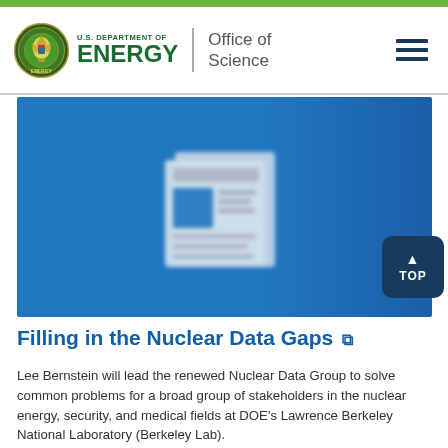U.S. DEPARTMENT OF ENERGY | Office of Science
[Figure (screenshot): Blue hero background image with a blurred newspaper icon in the center, representing a news article thumbnail.]
Filling in the Nuclear Data Gaps
Lee Bernstein will lead the renewed Nuclear Data Group to solve common problems for a broad group of stakeholders in the nuclear energy, security, and medical fields at DOE’s Lawrence Berkeley National Laboratory (Berkeley Lab).